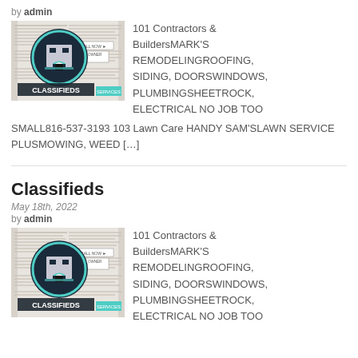by admin
[Figure (photo): Classifieds newspaper image with a circular logo showing an archway building, labeled CLASSIFIEDS and SERVICES]
101 Contractors & BuildersMARK'S REMODELINGROOFING, SIDING, DOORSWINDOWS, PLUMBINGSHEETROCK, ELECTRICAL NO JOB TOO SMALL816-537-3193 103 Lawn Care HANDY SAM'SLAWN SERVICE PLUSMOWING, WEED […]
Classifieds
May 18th, 2022
by admin
[Figure (photo): Classifieds newspaper image with a circular logo showing an archway building, labeled CLASSIFIEDS and SERVICES]
101 Contractors & BuildersMARK'S REMODELINGROOFING, SIDING, DOORSWINDOWS, PLUMBINGSHEETROCK, ELECTRICAL NO JOB TOO